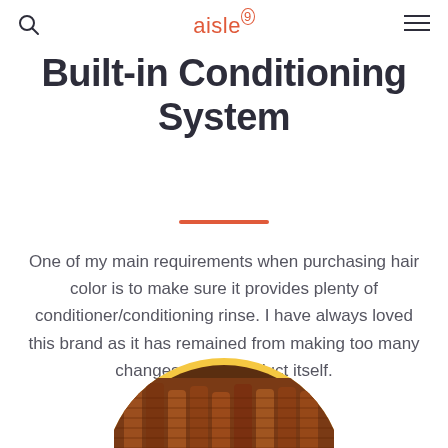aisle 9
Built-in Conditioning System
One of my main requirements when purchasing hair color is to make sure it provides plenty of conditioner/conditioning rinse. I have always loved this brand as it has remained from making too many changes to the product itself.
[Figure (photo): Circular cropped photo of hair color product tubes/combs in warm orange-brown tones with a yellow circular border]